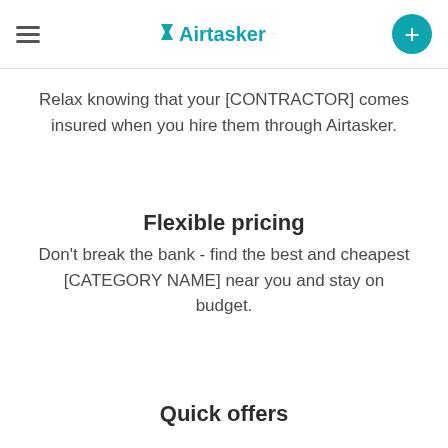Airtasker
Relax knowing that your [CONTRACTOR] comes insured when you hire them through Airtasker.
Flexible pricing
Don't break the bank - find the best and cheapest [CATEGORY NAME] near you and stay on budget.
Quick offers